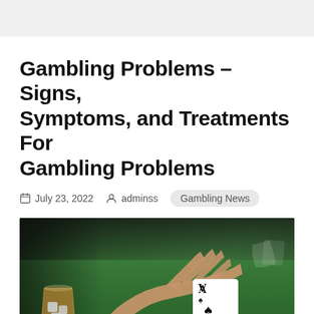Gambling Problems – Signs, Symptoms, and Treatments For Gambling Problems
July 23, 2022   adminss   Gambling News
[Figure (photo): A hand reaching across a green casino card table with playing cards (Ace visible) and a glass of whiskey with ice]